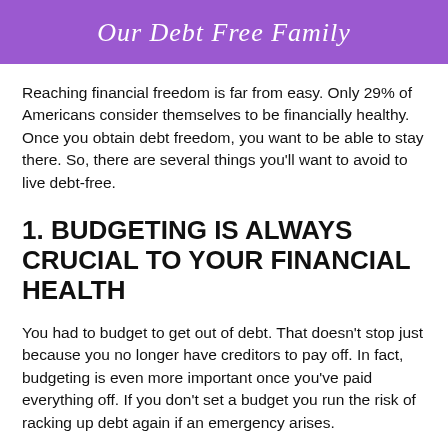Our Debt Free Family
Reaching financial freedom is far from easy. Only 29% of Americans consider themselves to be financially healthy. Once you obtain debt freedom, you want to be able to stay there. So, there are several things you'll want to avoid to live debt-free.
1. BUDGETING IS ALWAYS CRUCIAL TO YOUR FINANCIAL HEALTH
You had to budget to get out of debt. That doesn't stop just because you no longer have creditors to pay off. In fact, budgeting is even more important once you've paid everything off. If you don't set a budget you run the risk of racking up debt again if an emergency arises.